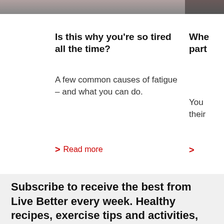[Figure (photo): Top image strip showing a person, partially visible at the top of the page]
Is this why you're so tired all the time?
A few common causes of fatigue – and what you can do.
Read more
Whe part
You their
>
Subscribe to receive the best from Live Better every week. Healthy recipes, exercise tips and activities, offers and